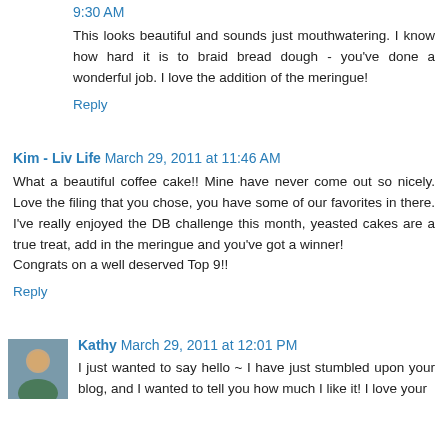9:30 AM
This looks beautiful and sounds just mouthwatering. I know how hard it is to braid bread dough - you've done a wonderful job. I love the addition of the meringue!
Reply
Kim - Liv Life  March 29, 2011 at 11:46 AM
What a beautiful coffee cake!! Mine have never come out so nicely. Love the filing that you chose, you have some of our favorites in there. I've really enjoyed the DB challenge this month, yeasted cakes are a true treat, add in the meringue and you've got a winner!
Congrats on a well deserved Top 9!!
Reply
Kathy  March 29, 2011 at 12:01 PM
I just wanted to say hello ~ I have just stumbled upon your blog, and I wanted to tell you how much I like it! I love your